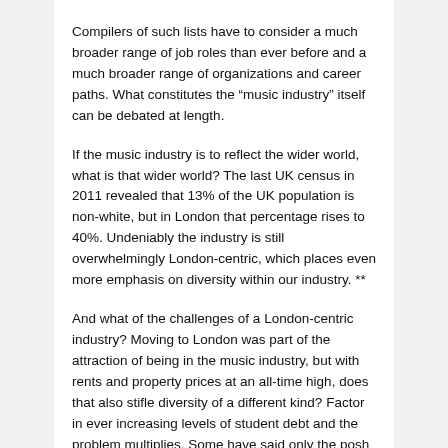Compilers of such lists have to consider a much broader range of job roles than ever before and a much broader range of organizations and career paths. What constitutes the “music industry” itself can be debated at length.
If the music industry is to reflect the wider world, what is that wider world? The last UK census in 2011 revealed that 13% of the UK population is non-white, but in London that percentage rises to 40%. Undeniably the industry is still overwhelmingly London-centric, which places even more emphasis on diversity within our industry. **
And what of the challenges of a London-centric industry? Moving to London was part of the attraction of being in the music industry, but with rents and property prices at an all-time high, does that also stifle diversity of a different kind? Factor in ever increasing levels of student debt and the problem multiplies. Some have said only the posh Home Counties middle class need apply – probably a blog post in itself!